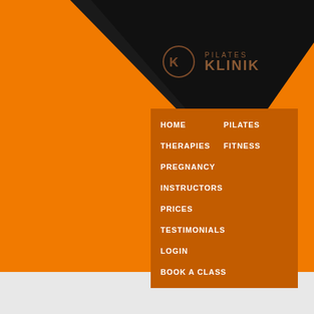[Figure (logo): Pilates Klinik logo with a stylized K in a circle on a dark triangle background, text reads PILATES KLINIK]
HOME
PILATES
THERAPIES
FITNESS
PREGNANCY
INSTRUCTORS
PRICES
TESTIMONIALS
LOGIN
BOOK A CLASS